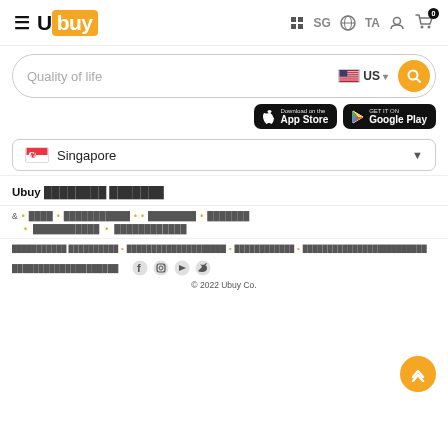Ubuy SG TA 0
Quality of life  US
[Figure (screenshot): App Store and Google Play download buttons]
Singapore (dropdown)
Ubuy ████████ ███████
& • ████ • ███████████ • • ███████ • ██████ • ██████████ • ████████████
████████████ ████████████████████ • █████████████ • ███████████████████████████
███████████████████████  © 2022 Ubuy Co.